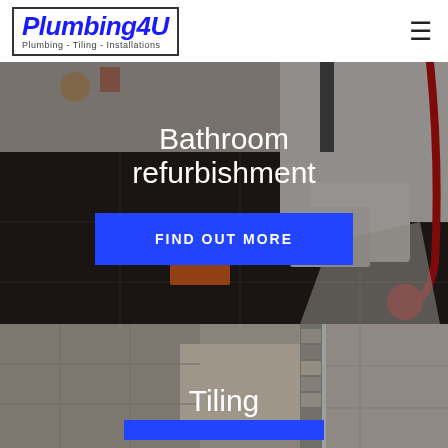[Figure (logo): Plumbing4U logo with text 'Plumbing - Tiling - Installations' inside a border box, blue italic bold font]
[Figure (photo): Bathroom refurbishment photo showing dark tiled floor, toilet, and construction materials with overlay text 'Bathroom refurbishment' and a blue 'FIND OUT MORE' button]
[Figure (photo): Tiling photo showing shower area tiles with mosaic strip, overlay text 'Tiling' and partially visible blue button at bottom]